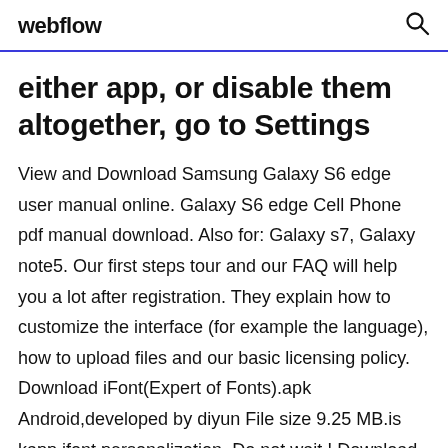webflow
either app, or disable them altogether, go to Settings
View and Download Samsung Galaxy S6 edge user manual online. Galaxy S6 edge Cell Phone pdf manual download. Also for: Galaxy s7, Galaxy note5. Our first steps tour and our FAQ will help you a lot after registration. They explain how to customize the interface (for example the language), how to upload files and our basic licensing policy. Download iFont(Expert of Fonts).apk Android,developed by diyun File size 9.25 MB.is kapp,ifont,personalization. Do not wait ! Download Police VS Thief THE policeman and